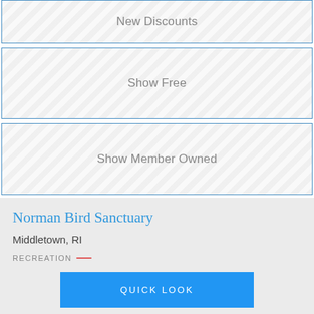New Discounts
Show Free
Show Member Owned
Norman Bird Sanctuary
Middletown, RI
RECREATION
QUICK LOOK
North Country Rivers
Bingham, ME
RECREATION